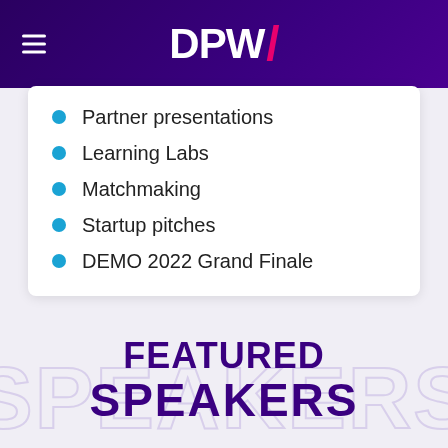DPW/
Partner presentations
Learning Labs
Matchmaking
Startup pitches
DEMO 2022 Grand Finale
FEATURED SPEAKERS